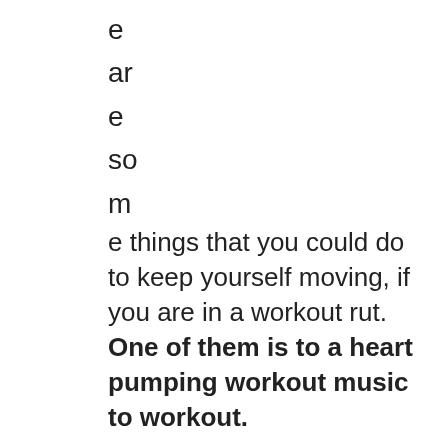e
ar
e
so
m
e things that you could do to keep yourself moving, if you are in a workout rut. One of them is to a heart pumping workout music to workout.
Having some songs will allow you to get whether it be a spin on an exercise bicycle a jog throughout the park, or even a grueling 35 minute session on the elliptical machine in the YMCA.
The trick to the music that you hear is that it needs to have a driving beat. That beat will keep